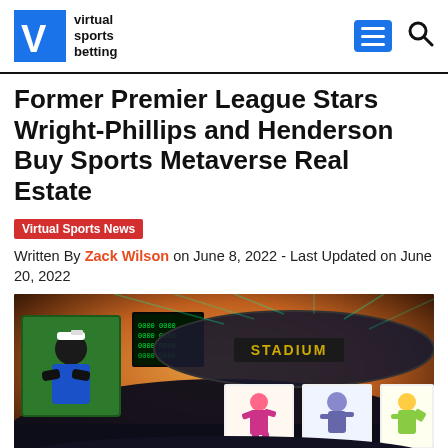virtual sports betting
Former Premier League Stars Wright-Phillips and Henderson Buy Sports Metaverse Real Estate
Virtual Sports News
Written By Zack Wilson on June 8, 2022 - Last Updated on June 20, 2022
[Figure (photo): Metaverse sports stadium scene with colorful lights, digital scoreboards, and NFT character displays in a virtual environment]